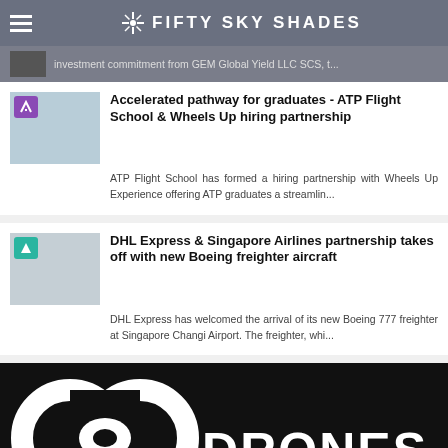FIFTY SKY SHADES
investment commitment from GEM Global Yield LLC SCS, t...
Accelerated pathway for graduates - ATP Flight School & Wheels Up hiring partnership
ATP Flight School has formed a hiring partnership with Wheels Up Experience offering ATP graduates a streamlin...
DHL Express & Singapore Airlines partnership takes off with new Boeing freighter aircraft
DHL Express has welcomed the arrival of its new Boeing 777 freighter at Singapore Changi Airport. The freighter, whi...
[Figure (logo): DJI Drones logo (white drone icon) with text DRONES on black background]
By using this website, you agree that we and our partners may set cookies for purposes such as customising content and advertising. OK